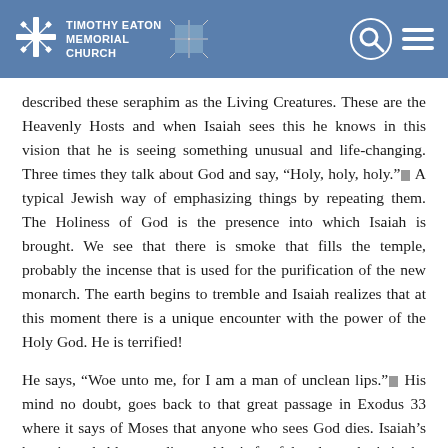Timothy Eaton Memorial Church
described these seraphim as the Living Creatures. These are the Heavenly Hosts and when Isaiah sees this he knows in this vision that he is seeing something unusual and life-changing. Three times they talk about God and say, “Holy, holy, holy.” A typical Jewish way of emphasizing things by repeating them. The Holiness of God is the presence into which Isaiah is brought. We see that there is smoke that fills the temple, probably the incense that is used for the purification of the new monarch. The earth begins to tremble and Isaiah realizes that at this moment there is a unique encounter with the power of the Holy God. He is terrified!
He says, “Woe unto me, for I am a man of unclean lips.” His mind no doubt, goes back to that great passage in Exodus 33 where it says of Moses that anyone who sees God dies. Isaiah’s heart is probably pounding and he is fearful and now he is in the presence of God and his life is over. He looks at his iniquity and he compares and contrasts it with the glory of God and he is